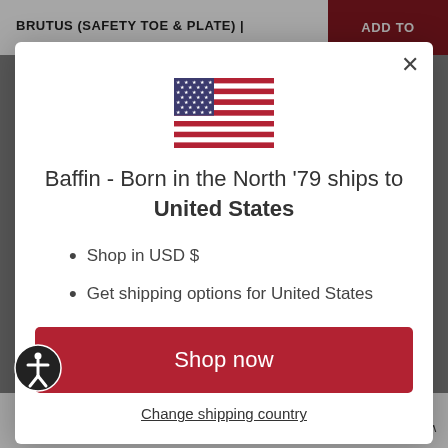BRUTUS (SAFETY TOE & PLATE) |
[Figure (illustration): US flag emoji/illustration centered in modal]
Baffin - Born in the North '79 ships to United States
Shop in USD $
Get shipping options for United States
Shop now
Change shipping country
Very like them
English